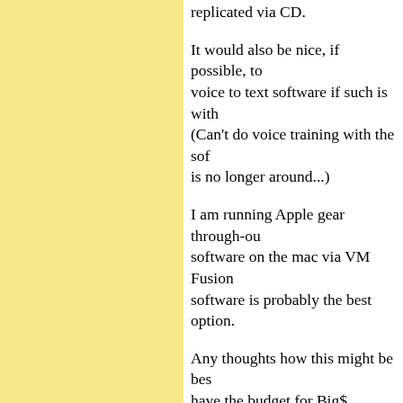replicated via CD.
It would also be nice, if possible, to voice to text software if such is with (Can't do voice training with the sof is no longer around...)
I am running Apple gear through-ou software on the mac via VM Fusion software is probably the best option.
Any thoughts how this might be bes have the budget for Big$ software.
Any help much appreciated
Posted by: Frank Hamsher | Monday, 08 August 2011
Dear Dennis,
The final “hardware solution” was a with a Ortofon OMB 10 cartridge an